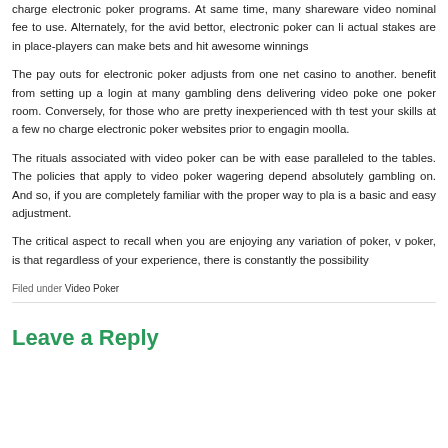charge electronic poker programs. At same time, many shareware video nominal fee to use. Alternately, for the avid bettor, electronic poker can li actual stakes are in place-players can make bets and hit awesome winnings
The pay outs for electronic poker adjusts from one net casino to another. benefit from setting up a login at many gambling dens delivering video poke one poker room. Conversely, for those who are pretty inexperienced with th test your skills at a few no charge electronic poker websites prior to engagin moolla.
The rituals associated with video poker can be with ease paralleled to the tables. The policies that apply to video poker wagering depend absolutely gambling on. And so, if you are completely familiar with the proper way to pla is a basic and easy adjustment.
The critical aspect to recall when you are enjoying any variation of poker, v poker, is that regardless of your experience, there is constantly the possibility
Filed under Video Poker
Leave a Reply